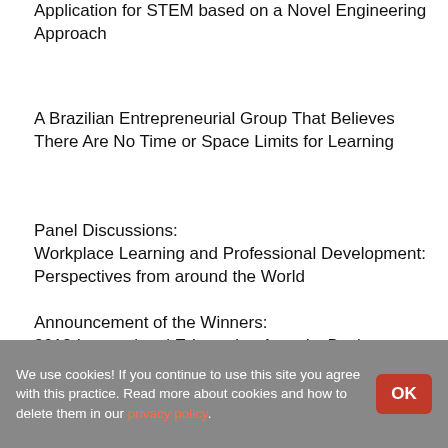Application for STEM based on a Novel Engineering Approach
A Brazilian Entrepreneurial Group That Believes There Are No Time or Space Limits for Learning
Panel Discussions:
Workplace Learning and Professional Development: Perspectives from around the World
Announcement of the Winners:
2018 International E-Learning Awards, Business Division
10th ICELW 2017, June 14-16,
We use cookies! If you continue to use this site you agree with this practice. Read more about cookies and how to delete them in our privacy policy.